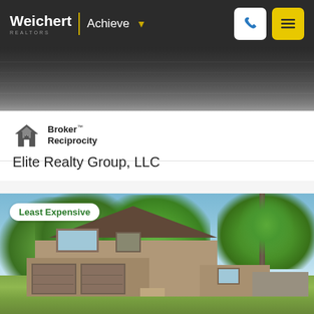Weichert | Achieve
[Figure (photo): Partial view of a dark water/landscape photograph at the top of the listing page]
[Figure (logo): Broker Reciprocity logo — house icon with MLS text]
Broker™ Reciprocity
Elite Realty Group, LLC
[Figure (photo): Exterior photo of a tan/brown split-level house with large trees, labeled Least Expensive]
Least Expensive